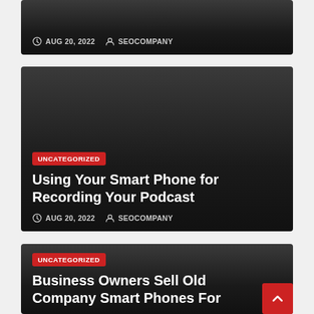[Figure (screenshot): Dark card with date AUG 20, 2022 and author SEOCOMPANY metadata at bottom]
AUG 20, 2022  SEOCOMPANY
[Figure (screenshot): Dark card for article: Using Your Smart Phone for Recording Your Podcast, with UNCATEGORIZED badge, date and author]
UNCATEGORIZED
Using Your Smart Phone for Recording Your Podcast
AUG 20, 2022  SEOCOMPANY
[Figure (screenshot): Dark card for article: Business Owners Sell Old Company Smart Phones For, with UNCATEGORIZED badge and partial title]
UNCATEGORIZED
Business Owners Sell Old Company Smart Phones For